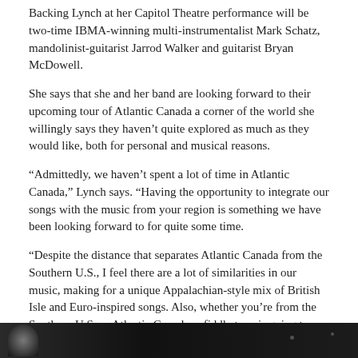Backing Lynch at her Capitol Theatre performance will be two-time IBMA-winning multi-instrumentalist Mark Schatz, mandolinist-guitarist Jarrod Walker and guitarist Bryan McDowell.
She says that she and her band are looking forward to their upcoming tour of Atlantic Canada a corner of the world she willingly says they haven't quite explored as much as they would like, both for personal and musical reasons.
“Admittedly, we haven’t spent a lot of time in Atlantic Canada,” Lynch says. “Having the opportunity to integrate our songs with the music from your region is something we have been looking forward to for quite some time.
“Despite the distance that separates Atlantic Canada from the Southern U.S., I feel there are a lot of similarities in our music, making for a unique Appalachian-style mix of British Isle and Euro-inspired songs. Also, whether you’re from the Southern U.S. or Atlantic Canada, a fiddle tune is going to make you want to get up and dance. No two ways about it,” Lynch says.
What: The Claire Lynch Band
When: Wednesday May 20, 7:30 p.m.
Where: Capitol Theatre, 811 Main St., Moncton
Tickets are $30 (plus service charges). Advance tickets are available at the Capitol Theatre Box Office, by phone at (506) 856-4379 and online at capitol.nb.ca
[Figure (photo): Dark image strip at bottom of page showing partial view of a performer, with dark background.]